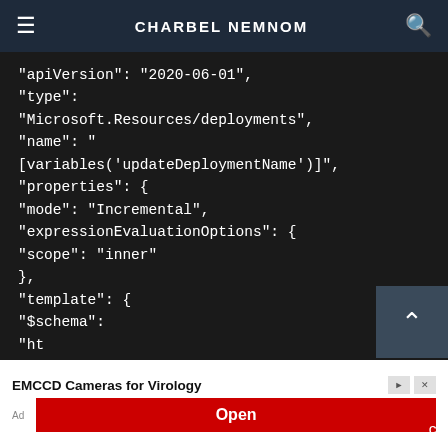CHARBEL NEMNOM
"apiVersion": "2020-06-01",
"type":
"Microsoft.Resources/deployments",
"name": "
[variables('updateDeploymentName')]",
"properties": {
"mode": "Incremental",
"expressionEvaluationOptions": {
"scope": "inner"
},
"template": {
"$schema":
"ht
[Figure (screenshot): Advertisement banner: EMCCD Cameras for Virology with Open button]